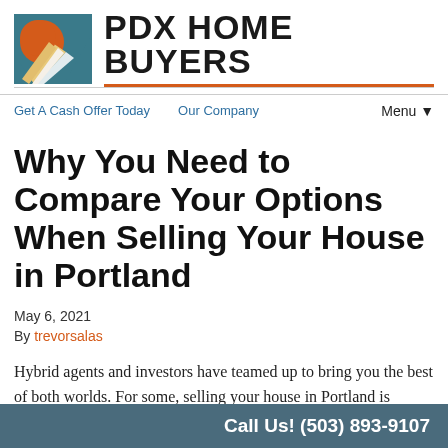[Figure (logo): PDX Home Buyers logo with geometric sunrise/road graphic in teal, orange, and yellow, and bold brand name text 'PDX HOME BUYERS' with orange underline]
Get A Cash Offer Today   Our Company   Menu ▼
Why You Need to Compare Your Options When Selling Your House in Portland
May 6, 2021
By trevorsalas
Hybrid agents and investors have teamed up to bring you the best of both worlds. For some, selling your house in Portland is better with...
Call Us! (503) 893-9107